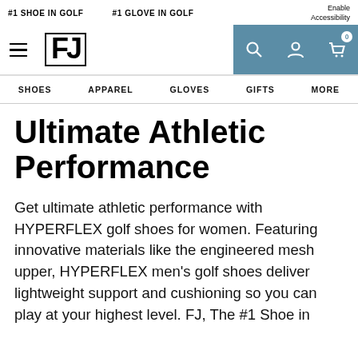#1 SHOE IN GOLF   #1 GLOVE IN GOLF   Enable Accessibility
[Figure (logo): FootJoy FJ logo in bordered box with hamburger menu, search, account, and cart icons in teal header bar]
SHOES   APPAREL   GLOVES   GIFTS   MORE
Ultimate Athletic Performance
Get ultimate athletic performance with HYPERFLEX golf shoes for women. Featuring innovative materials like the engineered mesh upper, HYPERFLEX men's golf shoes deliver lightweight support and cushioning so you can play at your highest level. FJ, The #1 Shoe in